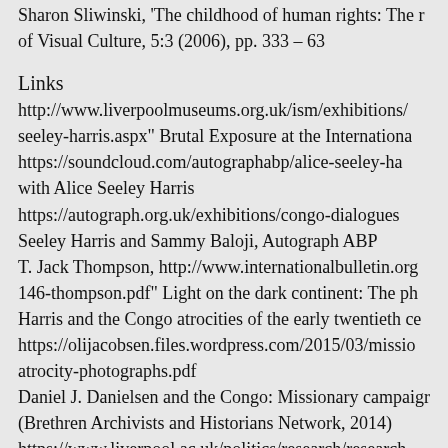Sharon Sliwinski, 'The childhood of human rights: The r of Visual Culture, 5:3 (2006), pp. 333 - 63
Links
http://www.liverpoolmuseums.org.uk/ism/exhibitions/ seeley-harris.aspx" Brutal Exposure at the Internationa https://soundcloud.com/autographabp/alice-seeley-ha with Alice Seeley Harris https://autograph.org.uk/exhibitions/congo-dialogues Seeley Harris and Sammy Baloji, Autograph ABP T. Jack Thompson, http://www.internationalbulletin.org 146-thompson.pdf" Light on the dark continent: The ph Harris and the Congo atrocities of the early twentieth ce https://olijacobsen.files.wordpress.com/2015/03/missio atrocity-photographs.pdf Daniel J. Danielsen and the Congo: Missionary campaigr (Brethren Archivists and Historians Network, 2014) https://www.liverpool.ac.uk/politics/research/research- Knowledge Network, University of Liverpool